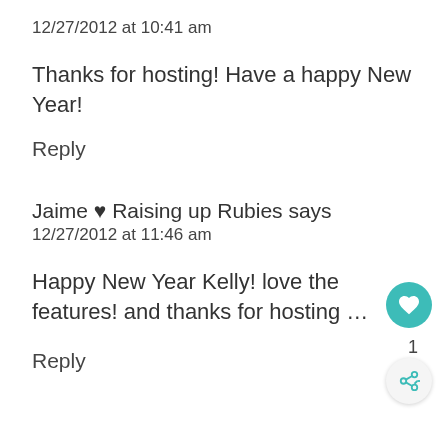12/27/2012 at 10:41 am
Thanks for hosting! Have a happy New Year!
Reply
Jaime ♥ Raising up Rubies says
12/27/2012 at 11:46 am
Happy New Year Kelly! love the features! and thanks for hosting …
Reply